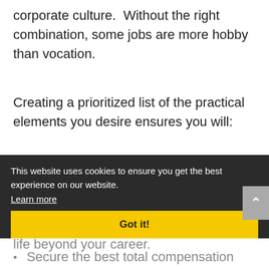corporate culture.  Without the right combination, some jobs are more hobby than vocation.
Creating a prioritized list of the practical elements you desire ensures you will:
This website uses cookies to ensure you get the best experience on our website.
Learn more
Got it!
Land a job you enjoy
Have a job that supports a satisfying life beyond your career.
Secure the best total compensation package that